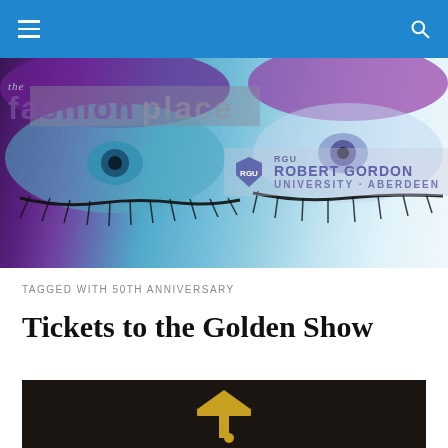Navigation bar with hamburger menu and search icon
[Figure (photo): Banner image showing close-up of eyes with dramatic purple and teal eyeshadow makeup, overlaid with 'the fashion place' text logo on left and RGU Robert Gordon University Aberdeen logo on right]
TAGGED WITH 50TH ANNIVERSARY
Tickets to the Golden Show
[Figure (photo): Partial image of a graduation cap against a dark fabric background]